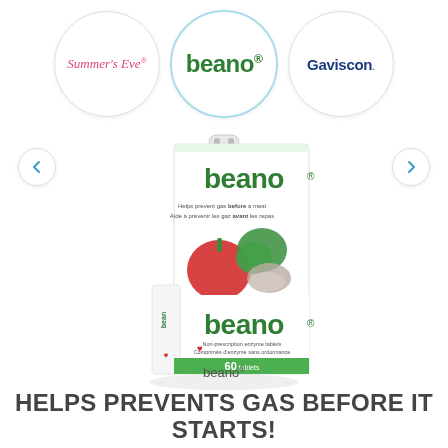[Figure (logo): Summer's Eve logo in pink italic serif font inside a white circle with light gray border]
[Figure (logo): beano logo in green bold font inside a white circle with light blue border — currently selected/highlighted]
[Figure (logo): Gaviscon logo in dark navy bold font inside a white circle with light gray border]
[Figure (photo): Beano product box showing the beano brand name in green, with vegetables (red pepper, broccoli, onion) and '60 tablets' on the front. The box has two faces visible.]
beano®
HELPS PREVENTS GAS BEFORE IT STARTS!